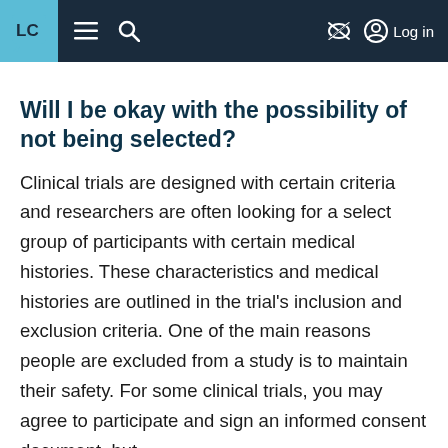LC  ≡  🔍  🚫  👤 Log in
Will I be okay with the possibility of not being selected?
Clinical trials are designed with certain criteria and researchers are often looking for a select group of participants with certain medical histories. These characteristics and medical histories are outlined in the trial's inclusion and exclusion criteria. One of the main reasons people are excluded from a study is to maintain their safety. For some clinical trials, you may agree to participate and sign an informed consent document, but